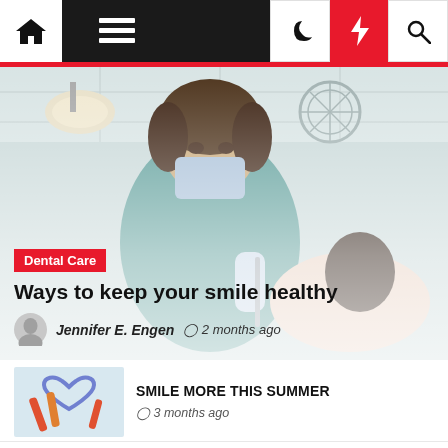Navigation bar with home, menu, moon, bolt, and search icons
[Figure (photo): Dental professional wearing mask and teal scrubs working with a patient in a dental chair, overhead dental lamp visible]
Dental Care
Ways to keep your smile healthy
Jennifer E. Engen  2 months ago
[Figure (photo): Dental toothbrush and heart-shaped dental floss holder with red and orange toothbrushes]
SMILE MORE THIS SUMMER
3 months ago
[Figure (photo): Close-up of a smile showing white teeth]
Tips to maintain good dental health in the summer season